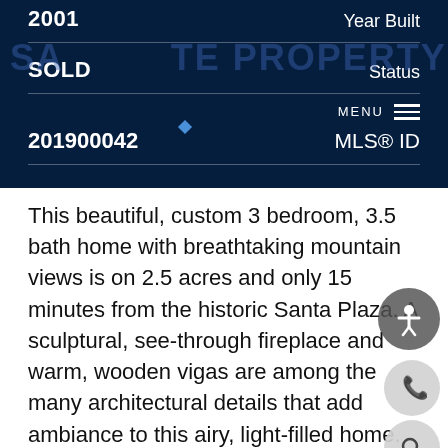[Figure (screenshot): Real estate listing dark blue panel showing property details: Year Built 2001, Status SOLD, MLS ID 201900042, with MENU/hamburger navigation and partial watermark overlay]
This beautiful, custom 3 bedroom, 3.5 bath home with breathtaking mountain views is on 2.5 acres and only 15 minutes from the historic Santa Plaza. A sculptural, see-through fireplace and warm, wooden vigas are among the many architectural details that add ambiance to this airy, light-filled home. The spacious, fluid design between the living/dining room and media room/den provides an easy flow for living and